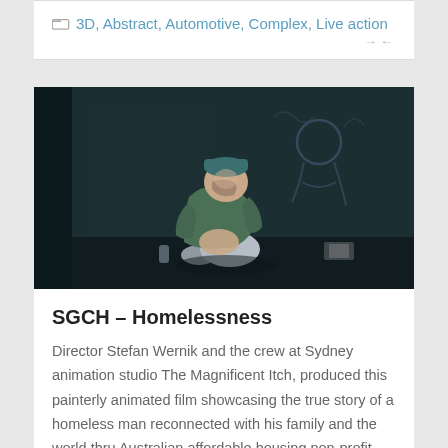3D, Abstract, Automotive, Complex, Live action
[Figure (illustration): Painterly animated illustration of a homeless man sitting hunched against a dark wall with graffiti behind him, in blue-green tones]
SGCH – Homelessness
Director Stefan Wernik and the crew at Sydney animation studio The Magnificent Itch, produced this painterly animated film showcasing the true story of a homeless man reconnected with his family and the world thru Australian affordable housing non-profit SGCH.